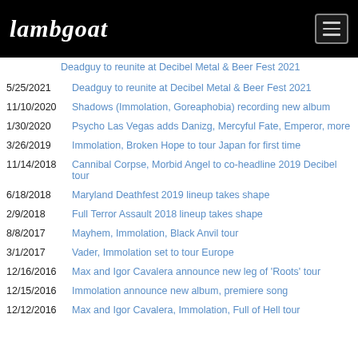Lambgoat
5/25/2021 — Deadguy to reunite at Decibel Metal & Beer Fest 2021
11/10/2020 — Shadows (Immolation, Goreaphobia) recording new album
1/30/2020 — Psycho Las Vegas adds Danizg, Mercyful Fate, Emperor, more
3/26/2019 — Immolation, Broken Hope to tour Japan for first time
11/14/2018 — Cannibal Corpse, Morbid Angel to co-headline 2019 Decibel tour
6/18/2018 — Maryland Deathfest 2019 lineup takes shape
2/9/2018 — Full Terror Assault 2018 lineup takes shape
8/8/2017 — Mayhem, Immolation, Black Anvil tour
3/1/2017 — Vader, Immolation set to tour Europe
12/16/2016 — Max and Igor Cavalera announce new leg of 'Roots' tour
12/15/2016 — Immolation announce new album, premiere song
12/12/2016 — Max and Igor Cavalera, Immolation, Full of Hell tour